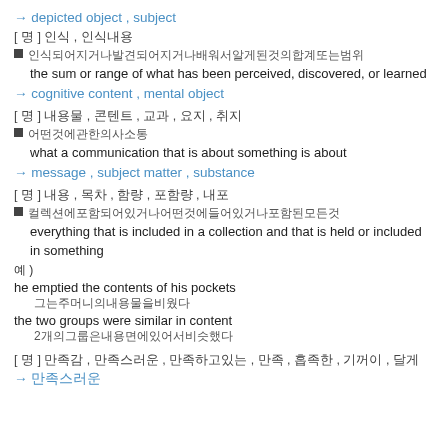→ depicted object , subject
[ 명 ] 인식 , 인식내용
■ 인식되어지거나발견되어지거나배워서알게된것의합계또는범위
the sum or range of what has been perceived, discovered, or learned
→ cognitive content , mental object
[ 명 ] 내용물 , 콘텐트 , 교과 , 요지 , 취지
■ 어떤것에관한의사소통
what a communication that is about something is about
→ message , subject matter , substance
[ 명 ] 내용 , 목차 , 함량 , 포함량 , 내포
■ 컬렉션에포함되어있거나어떤것에들어있거나포함된모든것
everything that is included in a collection and that is held or included in something
예 )
he emptied the contents of his pockets
그는주머니의내용물을비웠다
the two groups were similar in content
2개의그룹은내용면에있어서비슷했다
[ 명 ] 만족감 , 만족스러운 , 만족하고있는 , 만족 , 흡족한 , 기꺼이 , 달게